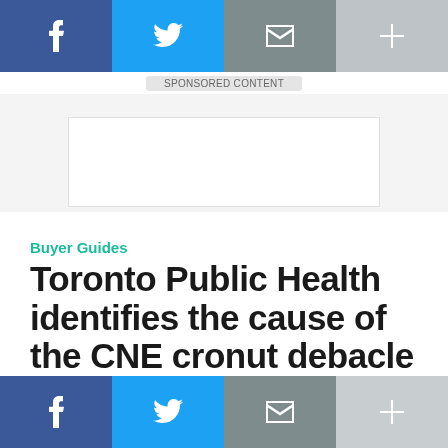f  [twitter]  [email]  +
[Figure (screenshot): Advertisement banner placeholder, white rectangle with light border]
Buyer Guides
Toronto Public Health identifies the cause of the CNE cronut debacle
Sean MacKay   Aug 27, 2013
f  [twitter]  [email]  +